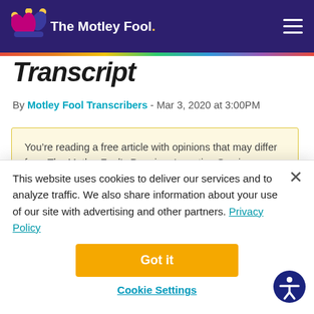The Motley Fool
Transcript
By Motley Fool Transcribers - Mar 3, 2020 at 3:00PM
You’re reading a free article with opinions that may differ from The Motley Fool’s Premium Investing Services. Become a Motley Fool member today to get instant access to our top analyst recommendations, in-depth
This website uses cookies to deliver our services and to analyze traffic. We also share information about your use of our site with advertising and other partners. Privacy Policy
Got it
Cookie Settings